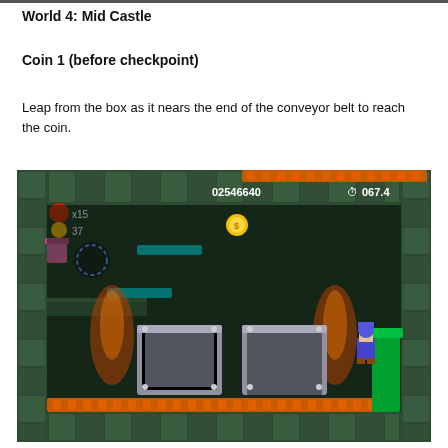World 4: Mid Castle
Coin 1 (before checkpoint)
Leap from the box as it nears the end of the conveyor belt to reach the coin.
[Figure (screenshot): Screenshot of a New Super Mario Bros. Wii castle level showing Mario/Luigi character on the right side, two metal conveyor boxes in the center, orange conveyor belts top and bottom, torches, and a coin floating in the upper-center area. Score shown: 02546640, timer 067.4, lives x15, coins 37.]